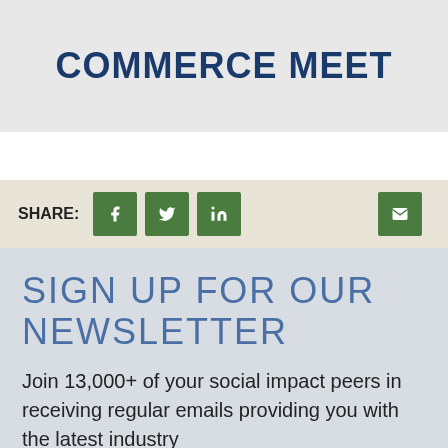WHERE GRACE AND COMMERCE MEET
SHARE:
SIGN UP FOR OUR NEWSLETTER
Join 13,000+ of your social impact peers in receiving regular emails providing you with the latest industry